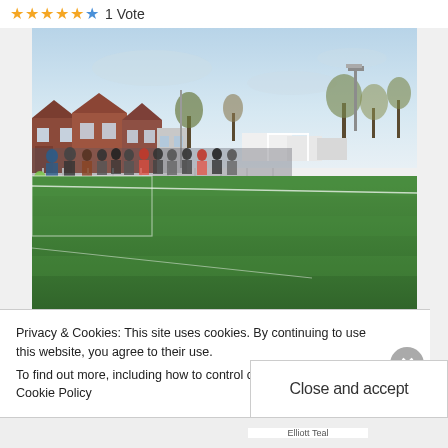★★★★★ ☆ 1 Vote
[Figure (photo): A football ground / non-league soccer pitch on a sunny day. Green grass pitch in foreground with white line markings, a goal visible in the middle distance. Spectators standing along a fence on the left side. Red-brick houses and bare trees visible in the background. A floodlight pylon on the right side. Clear blue sky.]
Privacy & Cookies: This site uses cookies. By continuing to use this website, you agree to their use.
To find out more, including how to control cookies, see here: Cookie Policy
Close and accept